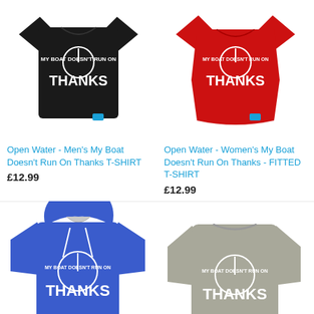[Figure (photo): Black men's t-shirt with 'My Boat Doesn't Run On Thanks' graphic]
Open Water - Men's My Boat Doesn't Run On Thanks T-SHIRT
£12.99
[Figure (photo): Red women's fitted t-shirt with 'My Boat Doesn't Run On Thanks' graphic]
Open Water - Women's My Boat Doesn't Run On Thanks - FITTED T-SHIRT
£12.99
[Figure (photo): Blue hoodie with 'My Boat Doesn't Run On Thanks' graphic]
[Figure (photo): Grey sweatshirt with 'My Boat Doesn't Run On Thanks' graphic]